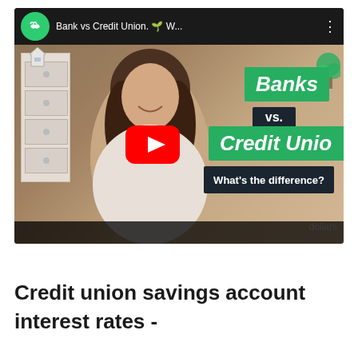[Figure (screenshot): YouTube video thumbnail showing a woman in a white sweater against a home office background, with green 'Banks' banner and green 'Credit Unio[ns]' banner, a dark 'vs.' box, and a dark 'What's the difference?' label. A red YouTube play button is centered. Channel logo is a green circle with white leaf. Video title: 'Bank vs Credit Union. 🌱 W...' with watermark 'dollars' in bottom right.]
Credit union savings account interest rates -